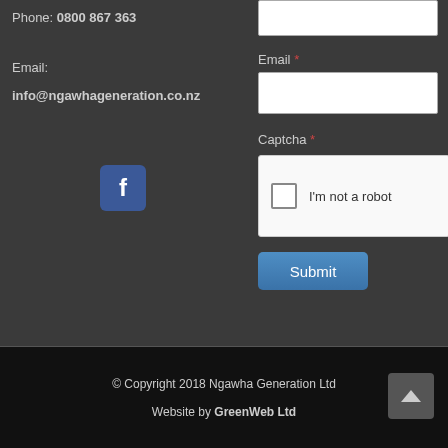Phone: 0800 867 363
Email:
info@ngawhageneration.co.nz
[Figure (logo): Facebook icon button - blue square with white 'f' letter]
Email *
Captcha *
[Figure (other): reCAPTCHA widget with checkbox and text 'I'm not a robot']
Submit
© Copyright 2018 Ngawha Generation Ltd
Website by GreenWeb Ltd